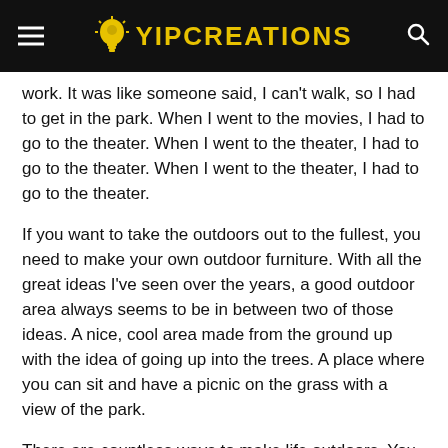YIPCREATIONS
work. It was like someone said, I can't walk, so I had to get in the park. When I went to the movies, I had to go to the theater. When I went to the theater, I had to go to the theater. When I went to the theater, I had to go to the theater.
If you want to take the outdoors out to the fullest, you need to make your own outdoor furniture. With all the great ideas I've seen over the years, a good outdoor area always seems to be in between two of those ideas. A nice, cool area made from the ground up with the idea of going up into the trees. A place where you can sit and have a picnic on the grass with a view of the park.
There are countless ways to make life outdoors. You could take out the outdoor furniture and put it in the closet, or put it on the floor in the living room. You can even make a poster